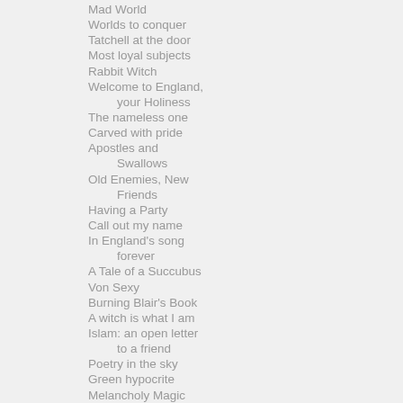Mad World
Worlds to conquer
Tatchell at the door
Most loyal subjects
Rabbit Witch
Welcome to England, your Holiness
The nameless one
Carved with pride
Apostles and Swallows
Old Enemies, New Friends
Having a Party
Call out my name
In England's song forever
A Tale of a Succubus
Von Sexy
Burning Blair's Book
A witch is what I am
Islam: an open letter to a friend
Poetry in the sky
Green hypocrite
Melancholy Magic
Battles then and battles now
Lara's Dream
Upper Volta with Rockets
Beautiful and sad